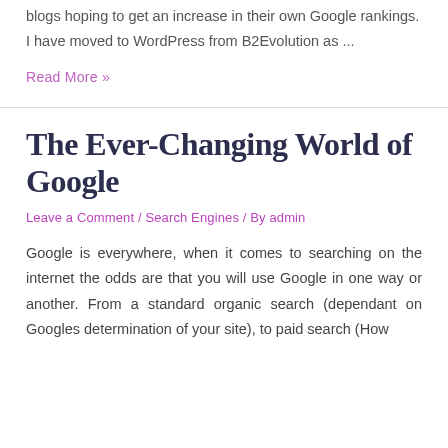blogs hoping to get an increase in their own Google rankings. I have moved to WordPress from B2Evolution as ...
Read More »
The Ever-Changing World of Google
Leave a Comment / Search Engines / By admin
Google is everywhere, when it comes to searching on the internet the odds are that you will use Google in one way or another. From a standard organic search (dependant on Googles determination of your site), to paid search (How